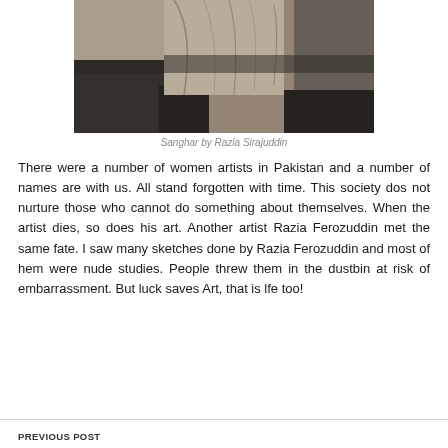[Figure (photo): A black and white artwork/painting showing a draped figure, geometric shapes and fabric folds — artwork titled Sanghar by Razia Sirajuddin]
Sanghar by Razia Sirajuddin
There were a number of women artists in Pakistan and a number of names are with us. All stand forgotten with time. This society dos not nurture those who cannot do something about themselves. When the artist dies, so does his art. Another artist Razia Ferozuddin met the same fate. I saw many sketches done by Razia Ferozuddin and most of hem were nude studies. People threw them in the dustbin at risk of embarrassment. But luck saves Art, that is lfe too!
PREVIOUS POST